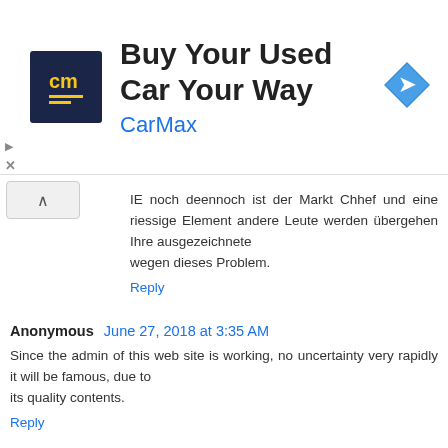[Figure (other): CarMax advertisement banner with logo, headline 'Buy Your Used Car Your Way', brand name 'CarMax', and navigation arrow icon]
IE noch deennoch ist der Markt Chhef und eine riessige Element andere Leute werden übergehen Ihre ausgezeichnete
wegen dieses Problem.
Reply
Anonymous  June 27, 2018 at 3:35 AM
Since the admin of this web site is working, no uncertainty very rapidly it will be famous, due to its quality contents.
Reply
Anonymous  June 27, 2018 at 5:51 AM